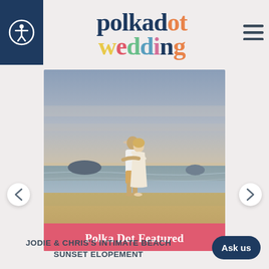polka dot wedding
[Figure (photo): A couple embracing and kissing on a beach at sunset, standing on wet sand with the ocean and small islands visible in the background under a dramatic cloudy sky. The man wears white shirt and khaki shorts; the woman wears a cream dress.]
Polka Dot Featured
JODIE & CHRIS'S INTIMATE BEACH SUNSET ELOPEMENT